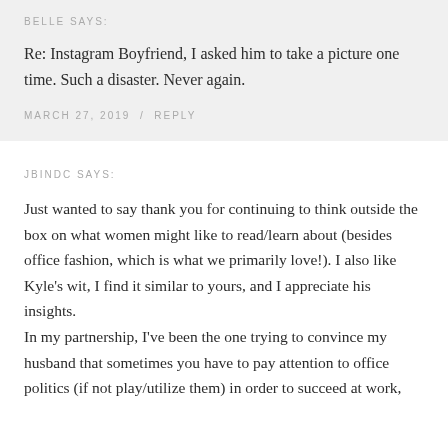BELLE SAYS:
Re: Instagram Boyfriend, I asked him to take a picture one time. Such a disaster. Never again.
MARCH 27, 2019 / REPLY
JBINDC SAYS:
Just wanted to say thank you for continuing to think outside the box on what women might like to read/learn about (besides office fashion, which is what we primarily love!). I also like Kyle's wit, I find it similar to yours, and I appreciate his insights.
In my partnership, I've been the one trying to convince my husband that sometimes you have to pay attention to office politics (if not play/utilize them) in order to succeed at work,